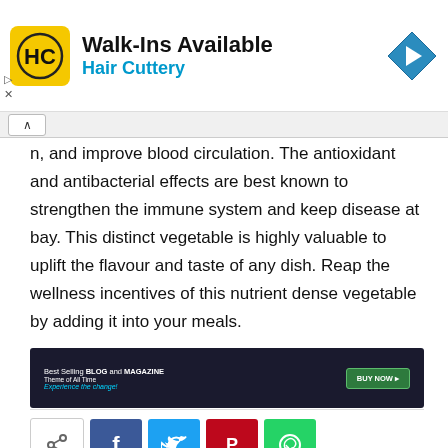[Figure (infographic): Hair Cuttery advertisement banner with yellow HC logo, 'Walk-Ins Available' text, blue 'Hair Cuttery' subtext, and blue diamond arrow icon on right]
n, and improve blood circulation. The antioxidant and antibacterial effects are best known to strengthen the immune system and keep disease at bay. This distinct vegetable is highly valuable to uplift the flavour and taste of any dish. Reap the wellness incentives of this nutrient dense vegetable by adding it into your meals.
[Figure (screenshot): Dark advertisement banner: 'Best Selling BLOG and MAGAZINE Theme of All Time Experience the change!' with BUY NOW button]
[Figure (infographic): Social share buttons row: generic share, Facebook (f), Twitter bird, Pinterest (P), WhatsApp phone icon]